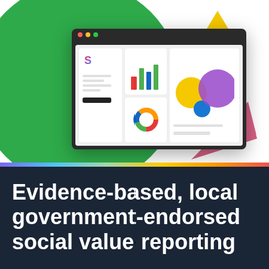[Figure (illustration): Dashboard/reporting illustration showing a browser window with a bar chart, donut chart, and bubble chart panels, overlaid on a large green circle background, with a small yellow triangle top-right and a pink/rose triangle bottom-right.]
Evidence-based, local government-endorsed social value reporting